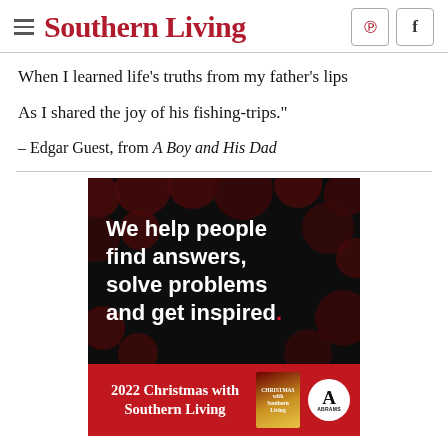Southern Living
When I learned life's truths from my father's lips
As I shared the joy of his fishing-trips."
– Edgar Guest, from A Boy and His Dad
[Figure (infographic): Dark advertisement: 'We help people find answers, solve problems and get inspired.' with dark red circle pattern background]
[Figure (infographic): Red advertisement for '2022 Christmas with Southern Living' book, showing book cover and ABRAMS publisher logo]